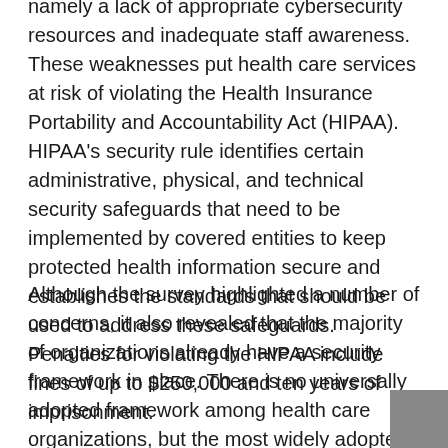namely a lack of appropriate cybersecurity resources and inadequate staff awareness. These weaknesses put health care services at risk of violating the Health Insurance Portability and Accountability Act (HIPAA). HIPAA's security rule identifies certain administrative, physical, and technical security safeguards that need to be implemented by covered entities to keep protected health information secure and establishes the standards that should be used to address these safeguards. Penalties for violating the HIPAA include fines of up to $250,000 and ten years of imprisonment.
Although the survey highlighted a number of concerns, it also revealed that the majority of organizations already have a security framework in place. There is no universally adopted framework among health care organizations, but the most widely adopted is the National Institute of Standards and Technology (NIST) Cybersecurity Framework, used by 57.9% of respondents. The framework is designed to address the